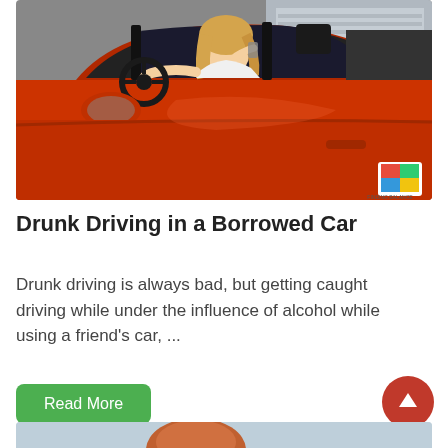[Figure (photo): Woman sitting in orange car, appearing to drink while in driver's seat, viewed from outside through open window]
Drunk Driving in a Borrowed Car
Drunk driving is always bad, but getting caught driving while under the influence of alcohol while using a friend's car, ...
Read More
[Figure (photo): Partial view of a person with red/auburn hair, outdoors, top of page for next article]